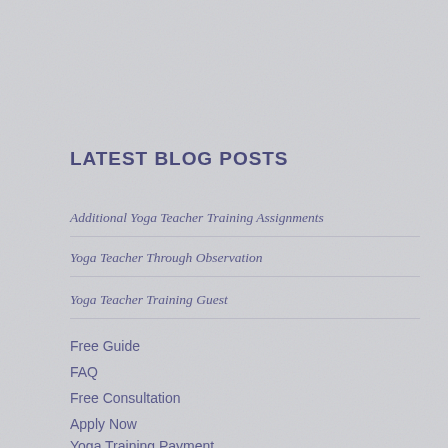LATEST BLOG POSTS
Additional Yoga Teacher Training Assignments
Yoga Teacher Through Observation
Yoga Teacher Training Guest
Free Guide
FAQ
Free Consultation
Apply Now
Yoga Training Payment